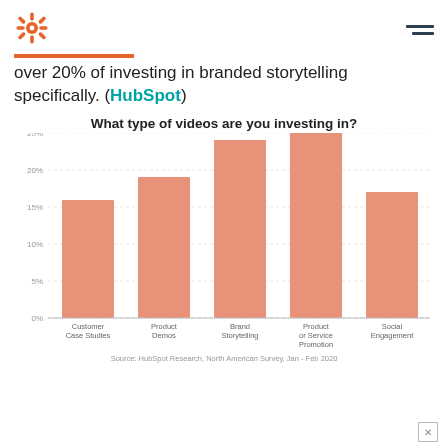HubSpot logo and navigation
over 20% of investing in branded storytelling specifically. (HubSpot)
[Figure (bar-chart): What type of videos are you investing in?]
Source: HubSpot Research, North American Survey, Jan - Feb 2020